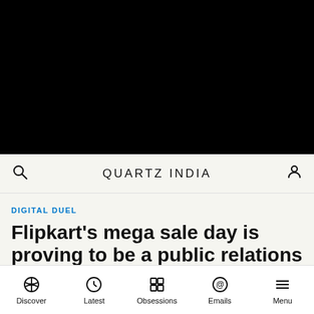[Figure (photo): Black image / video placeholder at top of page]
QUARTZ INDIA
DIGITAL DUEL
Flipkart’s mega sale day is proving to be a public relations nightmare
Discover  Latest  Obsessions  Emails  Menu